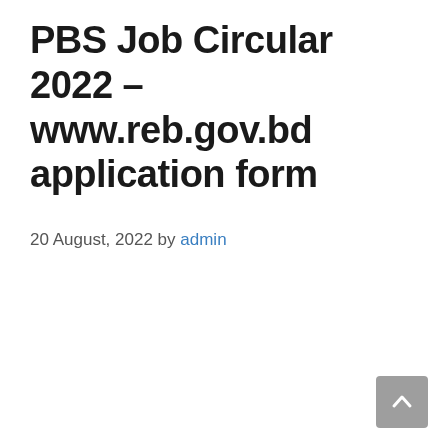PBS Job Circular 2022 – www.reb.gov.bd application form
20 August, 2022 by admin